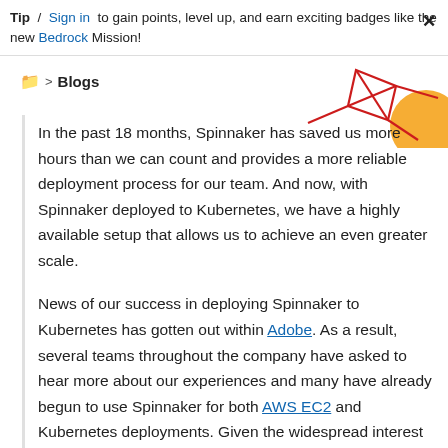Tip / Sign in to gain points, level up, and earn exciting badges like the new Bedrock Mission!
Blogs
[Figure (illustration): Decorative graphic with red geometric diamond/kite shape and orange circle in top-right corner]
In the past 18 months, Spinnaker has saved us more hours than we can count and provides a more reliable deployment process for our team. And now, with Spinnaker deployed to Kubernetes, we have a highly available setup that allows us to achieve an even greater scale.
News of our success in deploying Spinnaker to Kubernetes has gotten out within Adobe. As a result, several teams throughout the company have asked to hear more about our experiences and many have already begun to use Spinnaker for both AWS EC2 and Kubernetes deployments. Given the widespread interest